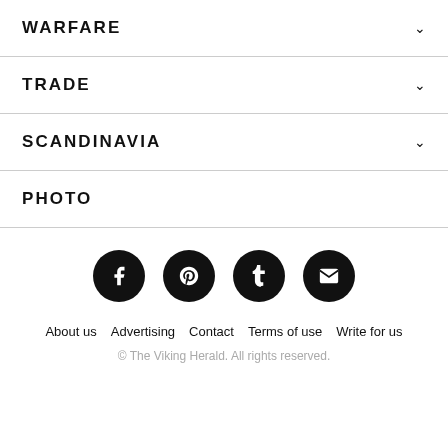WARFARE
TRADE
SCANDINAVIA
PHOTO
[Figure (infographic): Social media icons: Facebook, Pinterest, Tumblr, Email — black circles with white icons]
About us   Advertising   Contact   Terms of use   Write for us
© The Viking Herald. All rights reserved.